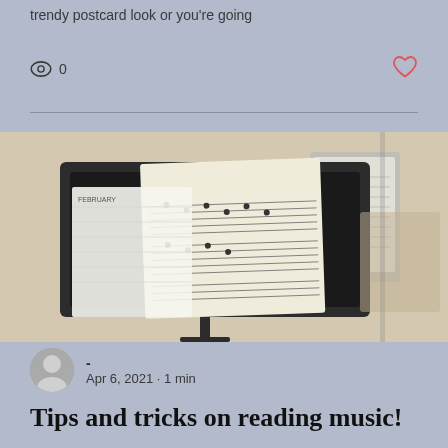trendy postcard look or you're going
0
[Figure (photo): Music stands with sheet music and a tablet displaying music notation, photographed outdoors]
- Apr 6, 2021 · 1 min
Tips and tricks on reading music!